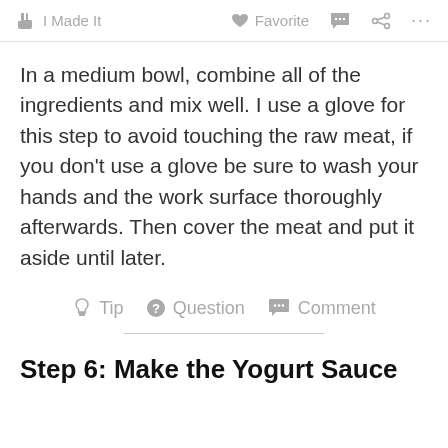I Made It   Favorite   Comment   Share   ...
In a medium bowl, combine all of the ingredients and mix well. I use a glove for this step to avoid touching the raw meat, if you don't use a glove be sure to wash your hands and the work surface thoroughly afterwards. Then cover the meat and put it aside until later.
Tip   Question   Comment
Step 6: Make the Yogurt Sauce